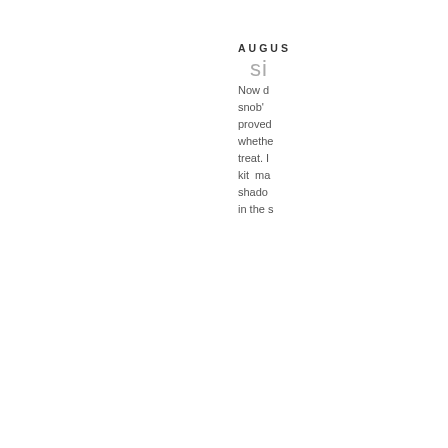AUGUS
si
Now d snob' proved whethe treat. I kit ma shado in the s